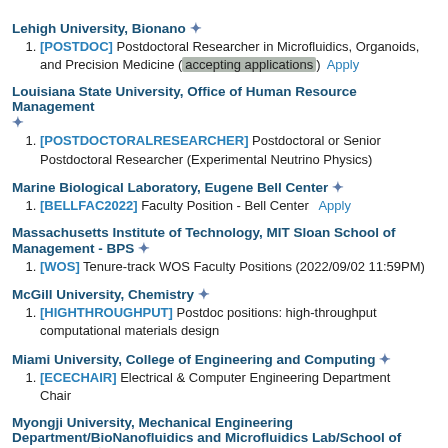Lehigh University, Bionano ✦
[POSTDOC] Postdoctoral Researcher in Microfluidics, Organoids, and Precision Medicine (accepting applications)   Apply
Louisiana State University, Office of Human Resource Management ✦
[POSTDOCTORALRESEARCHER] Postdoctoral or Senior Postdoctoral Researcher (Experimental Neutrino Physics)
Marine Biological Laboratory, Eugene Bell Center ✦
[BELLFAC2022] Faculty Position - Bell Center   Apply
Massachusetts Institute of Technology, MIT Sloan School of Management - BPS ✦
[WOS] Tenure-track WOS Faculty Positions (2022/09/02 11:59PM)
McGill University, Chemistry ✦
[HIGHTHROUGHPUT] Postdoc positions: high-throughput computational materials design
Miami University, College of Engineering and Computing ✦
[ECECHAIR] Electrical & Computer Engineering Department Chair
Myongji University, Mechanical Engineering Department/BioNanofluidics and Microfluidics Lab/School of Engineering ✦